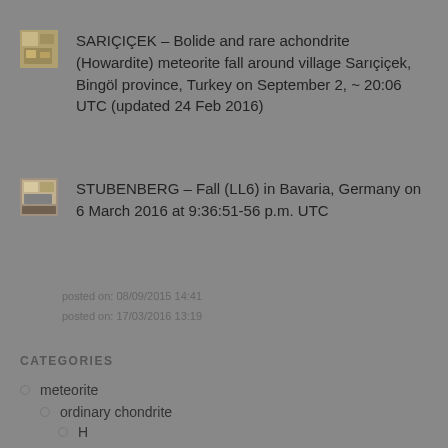SARIÇIÇEK – Bolide and rare achondrite (Howardite) meteorite fall around village Sarıçiçek, Bingöl province, Turkey on September 2, ~ 20:06 UTC (updated 24 Feb 2016)
posted on: 08/09/2015 14:41
STUBENBERG – Fall (LL6) in Bavaria, Germany on 6 March 2016 at 9:36:51-56 p.m. UTC
posted on: 17/03/2016 13:19
CATEGORIES
meteorite
ordinary chondrite
H
L
LL